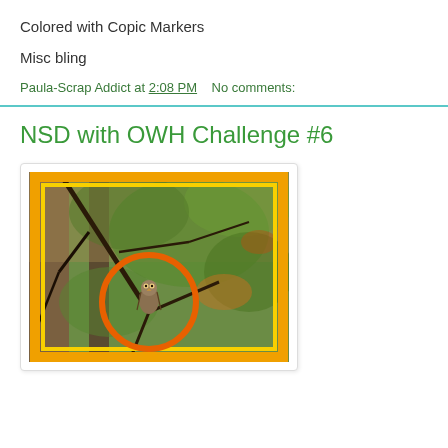Colored with Copic Markers
Misc bling
Paula-Scrap Addict at 2:08 PM   No comments:
NSD with OWH Challenge #6
[Figure (photo): Photo of an owl perched on a tree branch among green foliage, with an orange circle highlight drawn around the owl, and an orange and yellow decorative border framing the image.]